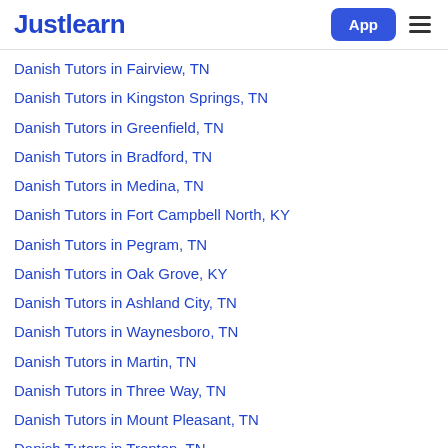Justlearn
Danish Tutors in Fairview, TN
Danish Tutors in Kingston Springs, TN
Danish Tutors in Greenfield, TN
Danish Tutors in Bradford, TN
Danish Tutors in Medina, TN
Danish Tutors in Fort Campbell North, KY
Danish Tutors in Pegram, TN
Danish Tutors in Oak Grove, KY
Danish Tutors in Ashland City, TN
Danish Tutors in Waynesboro, TN
Danish Tutors in Martin, TN
Danish Tutors in Three Way, TN
Danish Tutors in Mount Pleasant, TN
Danish Tutors in Trenton, TN
Danish Tutors in Cadiz, KY
Danish Tutors in Pleasant View, TN